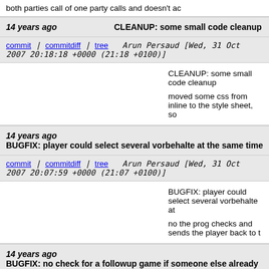both parties call of one party calls and doesn't ac
14 years ago    CLEANUP: some small code cleanup
commit | commitdiff | tree    Arun Persaud [Wed, 31 Oct 2007 20:18:18 +0000 (21:18 +0100)]
CLEANUP: some small code cleanup

moved some css from inline to the style sheet, so
14 years ago    BUGFIX: player could select several vorbehalte at the same time
commit | commitdiff | tree    Arun Persaud [Wed, 31 Oct 2007 20:07:59 +0000 (21:07 +0100)]
BUGFIX: player could select several vorbehalte at

no the prog checks and sends the player back to t
14 years ago    BUGFIX: no check for a followup game if someone else already started one
commit | commitdiff | tree    Arun Persaud [Wed, 31 Oct 2007 09:45:28 +0000 (10:45 +0100)]
BUGFIX: no check for a followup game if someone